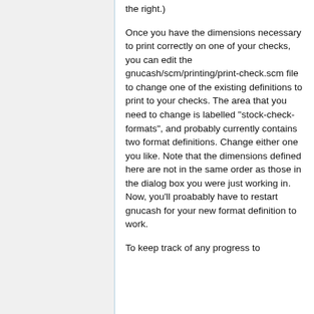the right.)
Once you have the dimensions necessary to print correctly on one of your checks, you can edit the gnucash/scm/printing/print-check.scm file to change one of the existing definitions to print to your checks. The area that you need to change is labelled "stock-check-formats", and probably currently contains two format definitions. Change either one you like. Note that the dimensions defined here are not in the same order as those in the dialog box you were just working in. Now, you'll proabably have to restart gnucash for your new format definition to work.
To keep track of any progress to